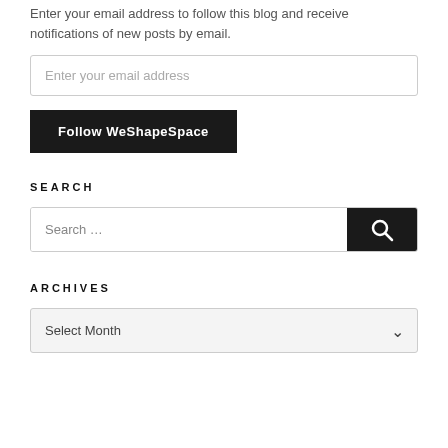Enter your email address to follow this blog and receive notifications of new posts by email.
Enter your email address
Follow WeShapeSpace
SEARCH
Search ...
ARCHIVES
Select Month